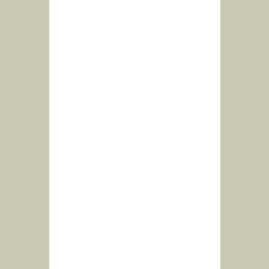By Airborne68007 in forum 4-...
GP 1200R vs RXP 215 G... By Rampage in forum Open D...
WTB RXP/RXT gas tank... By shooter98xpl in forum Sea...
Rxp gas mileage and fue... By Mark S in forum 4-Tec Pe...
question about gas in gp... By stingray152003 in forum Y...
---- Lite GreenHulk
Select Language
Contact...
All times are GMT -5. The time now is 03:1... Powered by vBulletin® Copyright ©...